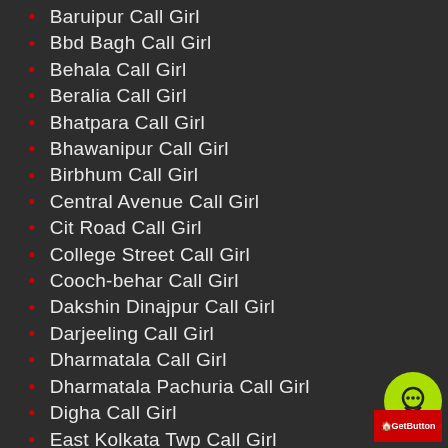Baruipur Call Girl
Bbd Bagh Call Girl
Behala Call Girl
Beralia Call Girl
Bhatpara Call Girl
Bhawanipur Call Girl
Birbhum Call Girl
Central Avenue Call Girl
Cit Road Call Girl
College Street Call Girl
Cooch-behar Call Girl
Dakshin Dinajpur Call Girl
Darjeeling Call Girl
Dharmatala Call Girl
Dharmatala Pachuria Call Girl
Digha Call Girl
East Kolkata Twp Call Girl
Esplanade Call Girl
Garden Reach Call Girl
Gariahat Call Girl